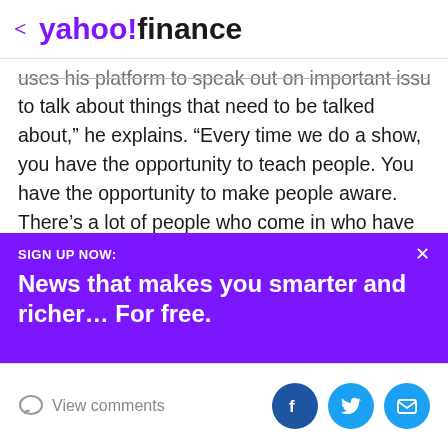< yahoo!finance
uses his platform to speak out on important issues.“ I like to talk about things that need to be talked about,” he explains. “Every time we do a show, you have the opportunity to teach people. You have the opportunity to make people aware. There’s a lot of people who come in who have never been part of the LGBTQ+ community.”
For Kristian, entertainment and education go hand in hand. He believes it’s easier to reach people if they’re having a good time. “I’ve had so many people say, ‘I came to your show, and all I needed was that suspension from
SIGN UP NOW:
News that makes you smarter and richer… For free.
View comments